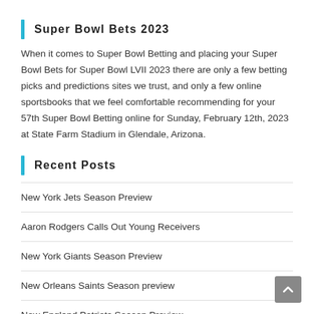Super Bowl Bets 2023
When it comes to Super Bowl Betting and placing your Super Bowl Bets for Super Bowl LVII 2023 there are only a few betting picks and predictions sites we trust, and only a few online sportsbooks that we feel comfortable recommending for your 57th Super Bowl Betting online for Sunday, February 12th, 2023 at State Farm Stadium in Glendale, Arizona.
Recent Posts
New York Jets Season Preview
Aaron Rodgers Calls Out Young Receivers
New York Giants Season Preview
New Orleans Saints Season preview
New England Patriots Season Preview